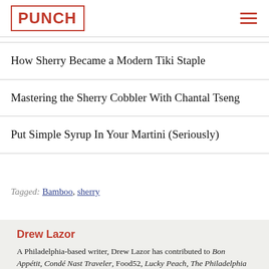PUNCH
How Sherry Became a Modern Tiki Staple
Mastering the Sherry Cobbler With Chantal Tseng
Put Simple Syrup In Your Martini (Seriously)
Tagged: Bamboo, sherry
Drew Lazor
A Philadelphia-based writer, Drew Lazor has contributed to Bon Appétit, Condé Nast Traveler, Food52, Lucky Peach, The Philadelphia Inquirer,